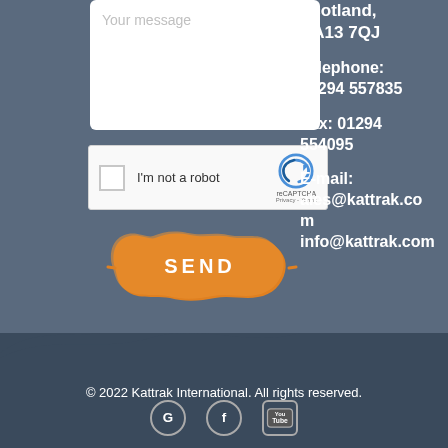[Figure (other): Contact form with message textarea placeholder showing 'Your message']
[Figure (other): reCAPTCHA widget with checkbox 'I'm not a robot']
Scotland, KA13 7QJ
Telephone: 01294 557835
Fax: 01294 554095
E-mail:
ales@kattrak.co
n
nfo@kattrak.com
[Figure (other): Orange paint splatter SEND button]
© 2022 Kattrak International. All rights reserved.
[Figure (other): Social media icons: Google, Facebook, YouTube]